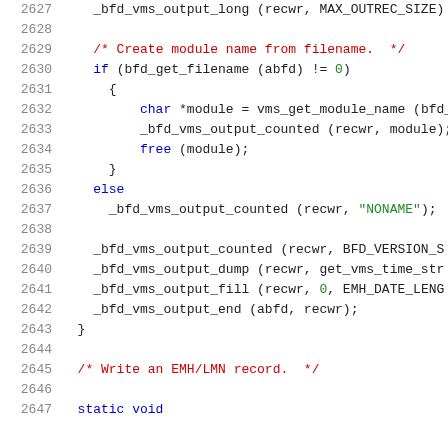Code listing lines 2627-2647 showing C source code for VMS BFD output functions
2627    _bfd_vms_output_long (recwr, MAX_OUTREC_SIZE)
2628
2629    /* Create module name from filename.  */
2630    if (bfd_get_filename (abfd) != 0)
2631      {
2632          char *module = vms_get_module_name (bfd_g
2633          _bfd_vms_output_counted (recwr, module);
2634          free (module);
2635      }
2636    else
2637      _bfd_vms_output_counted (recwr, "NONAME");
2638
2639    _bfd_vms_output_counted (recwr, BFD_VERSION_S
2640    _bfd_vms_output_dump (recwr, get_vms_time_str
2641    _bfd_vms_output_fill (recwr, 0, EMH_DATE_LENG
2642    _bfd_vms_output_end (abfd, recwr);
2643  }
2644
2645  /* Write an EMH/LMN record.  */
2646
2647  static void